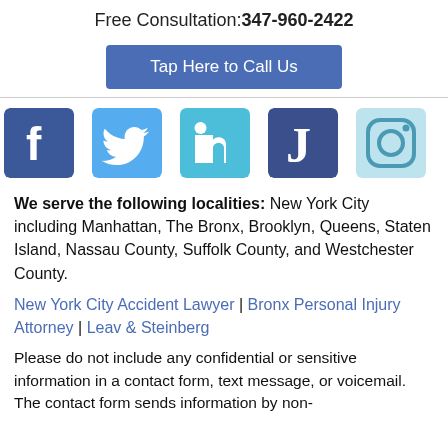Free Consultation: 347-960-2422
Tap Here to Call Us
[Figure (infographic): Social media icons row: Facebook (blue), Twitter (light blue), LinkedIn (teal/blue), Justia (dark blue with J), Instagram (light blue outline)]
We serve the following localities: New York City including Manhattan, The Bronx, Brooklyn, Queens, Staten Island, Nassau County, Suffolk County, and Westchester County.
New York City Accident Lawyer | Bronx Personal Injury Attorney | Leav & Steinberg
Please do not include any confidential or sensitive information in a contact form, text message, or voicemail. The contact form sends information by non-